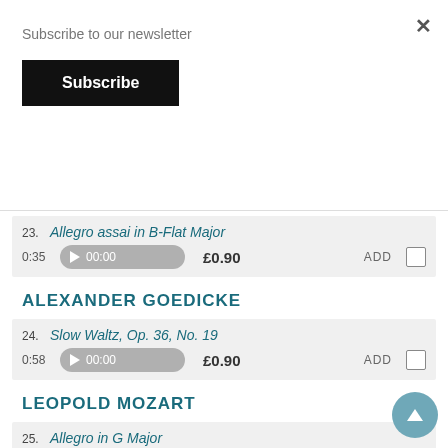Subscribe to our newsletter
Subscribe
×
23. Allegro assai in B-Flat Major — 0:35 — £0.90 — ADD
ALEXANDER GOEDICKE
24. Slow Waltz, Op. 36, No. 19 — 0:58 — £0.90 — ADD
LEOPOLD MOZART
25. Allegro in G Major — 1:05 — £0.90 — ADD